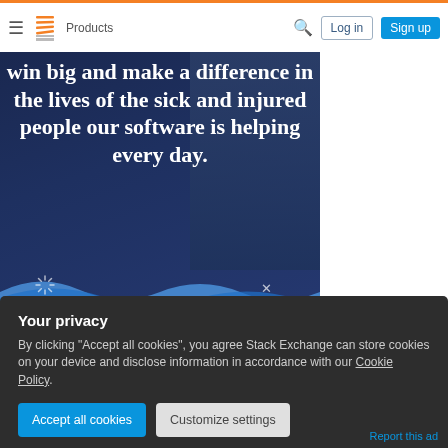≡  [Stack Overflow logo]  Products  [search icon]  Log in  Sign up
[Figure (photo): Dark blue hero image with white serif text overlay reading 'win big and make a difference in the lives of the sick and injured people our software is helping every day.' with a wave shape at the bottom and silhouetted figures on the right side.]
Your privacy
By clicking "Accept all cookies", you agree Stack Exchange can store cookies on your device and disclose information in accordance with our Cookie Policy.
Accept all cookies  Customize settings
Report this ad